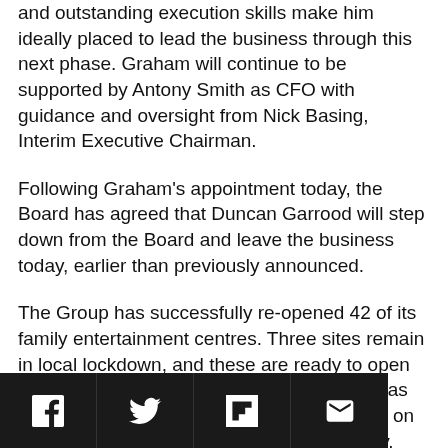and outstanding execution skills make him ideally placed to lead the business through this next phase. Graham will continue to be supported by Antony Smith as CFO with guidance and oversight from Nick Basing, Interim Executive Chairman.
Following Graham's appointment today, the Board has agreed that Duncan Garrood will step down from the Board and leave the business today, earlier than previously announced.
The Group has successfully re-opened 42 of its family entertainment centres. Three sites remain in local lockdown, and these are ready to open when local regulations allow. Initial trading has been very encouraging and is building week on week, proving to be cash generative already.
[Figure (other): Social share bar with icons for Facebook, Twitter, Flipboard, and Email on a dark background]